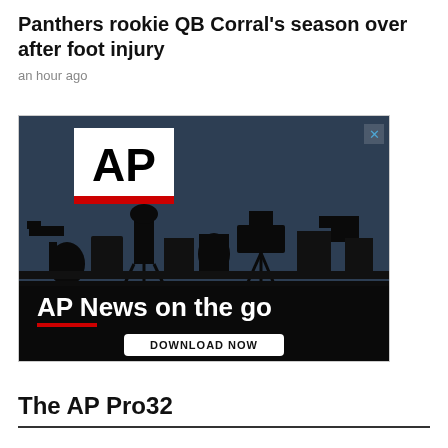Panthers rookie QB Corral's season over after foot injury
an hour ago
[Figure (photo): AP News advertisement showing silhouettes of camera operators and journalists against a blue sky, with AP logo in top left, red underline, text 'AP News on the go' and a 'DOWNLOAD NOW' button at the bottom. An X close button appears in the top right corner.]
The AP Pro32